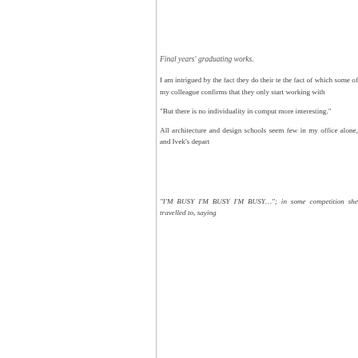Final years' graduating works.
I am intrigued by the fact they do their te the fact of which some of my colleague confirms that they only start working with
“But there is no individuality in comput more interesting.”
All architecture and design schools seem few in my office alone, and Ivek’s depart
“I’M BUSY I’M BUSY I’M BUSY…”; in some competition she travelled to, saying